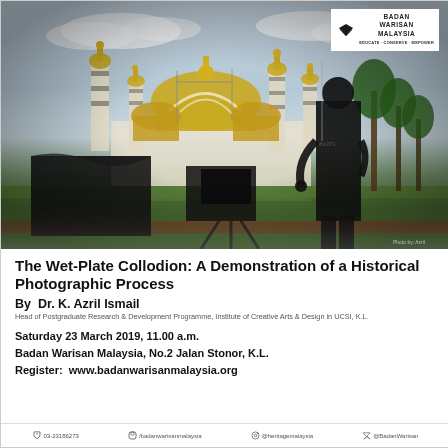[Figure (photo): Photograph of a person using a large format camera on a tripod with a black cloth/dark slide, photographing Ubudiah Mosque (featuring gold domes and white minarets) in Kuala Kangsar, Malaysia, with green palm trees and a cloudy sky in the background.]
The Wet-Plate Collodion: A Demonstration of a Historical Photographic Process
By  Dr. K. Azril Ismail
Head of Postgraduate Research & Development Programme, Institute of Creative Arts & Design in UCSI, K.L.
Saturday 23 March 2019, 11.00 a.m.
Badan Warisan Malaysia, No.2 Jalan Stonor, K.L.
Register:  www.badanwarisanmalaysia.org
03-23186273  |  /badanwarisanmalaysia  |  @heritagemalaysia  |  @BadanWarisan